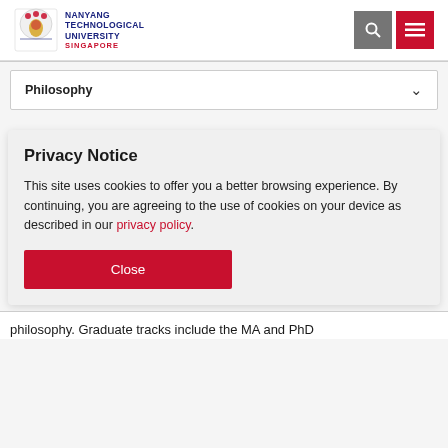[Figure (logo): Nanyang Technological University Singapore logo with crest and text]
Philosophy
Privacy Notice
This site uses cookies to offer you a better browsing experience. By continuing, you are agreeing to the use of cookies on your device as described in our privacy policy.
Close
philosophy. Graduate tracks include the MA and PhD